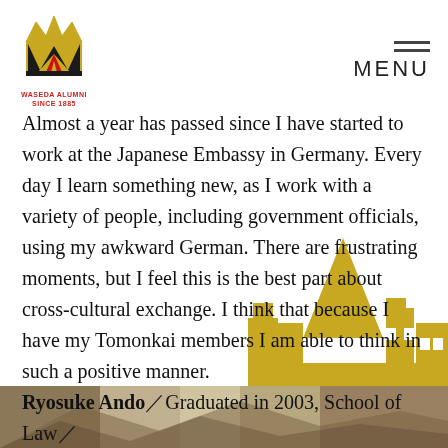[Figure (logo): Waseda Alumni Since 1885 logo with black and gold W emblem]
MENU
Almost a year has passed since I have started to work at the Japanese Embassy in Germany. Every day I learn something new, as I work with a variety of people, including government officials, using my awkward German. There are frustrating moments, but I feel this is the best part about cross-cultural exchange. I think that because I have my Tomonkai members I am able to think in such a positive manner.
Ryosuke Ando／Graduated in 2003, School of Law／
[Figure (illustration): Gold silhouette of a city skyline in the bottom right corner]
[Figure (photo): Photo strip at the bottom of the page showing an outdoor scene]